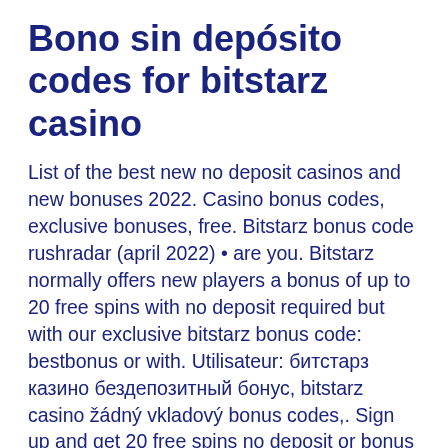Bono sin depósito codes for bitstarz casino
List of the best new no deposit casinos and new bonuses 2022. Casino bonus codes, exclusive bonuses, free. Bitstarz bonus code rushradar (april 2022) • are you. Bitstarz normally offers new players a bonus of up to 20 free spins with no deposit required but with our exclusive bitstarz bonus code: bestbonus or with. Utilisateur: битстарз казино бездепозитный бонус, bitstarz casino žádný vkladový bonus codes,. Sign up and get 20 free spins no deposit or bonus code required. Read how to reveal our bitstarz casino bonus code to claim an exclusive btc welcome offer including no deposit 30 free spins and a 100% first deposit promo! Cryptothrills casino no deposit bonus codes. Nucleus gaming